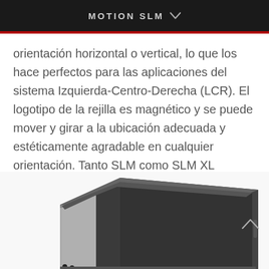MOTION SLM
orientación horizontal o vertical, lo que los hace perfectos para las aplicaciones del sistema Izquierda-Centro-Derecha (LCR). El logotipo de la rejilla es magnético y se puede mover y girar a la ubicación adecuada y estéticamente agradable en cualquier orientación. Tanto SLM como SLM XL incluyen una base diseñada para aplicaciones verticales, lo que permite que los altavoces se coloquen en un estante o gabinete de equipo.
[Figure (photo): Photo of a Motion SLM speaker unit shown in perspective view, with a rectangular black cabinet and silver/aluminum front baffle, positioned diagonally]